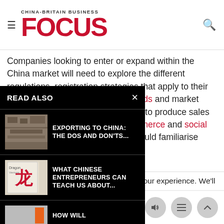CHINA-BRITAIN BUSINESS FOCUS
Companies looking to enter or expand within the China market will need to explore the different regulations, registration strategies that apply to their unique commercial payment methods and market media both drive consumer looking to produce sales in in understanding and key e-commerce and social round development in China es should familiarise
READ ALSO
EXPORTING TO CHINA: THE DOS AND DON'TS...
WHAT CHINESE ENTREPRENEURS CAN TEACH US ABOUT...
HOW WILL
This website uses cookies to improve your experience. We'll
Duncan Clark: Has China Become 'Uninvestable?'